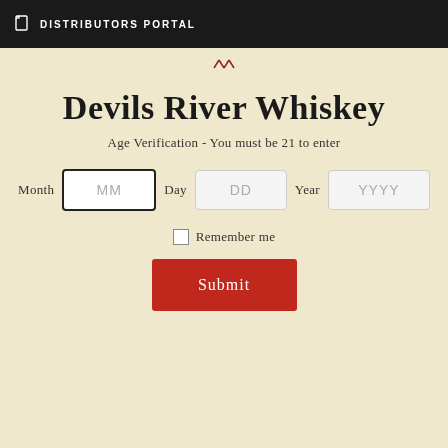DISTRIBUTORS PORTAL
Devils River Whiskey
Age Verification - You must be 21 to enter
Month MM Day DD Year YYYY
Remember me
Submit
[Figure (photo): Blurred background photo of whiskey glass and chain, dark amber tones]